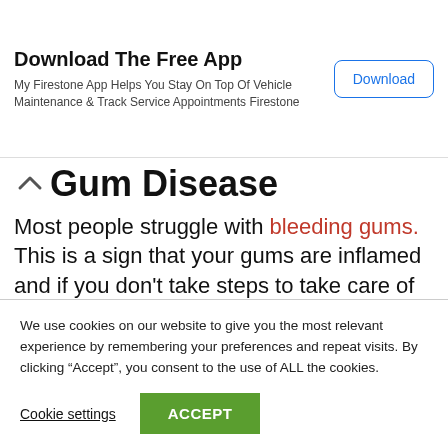Download The Free App — My Firestone App Helps You Stay On Top Of Vehicle Maintenance & Track Service Appointments Firestone | Download
Gum Disease
Most people struggle with bleeding gums. This is a sign that your gums are inflamed and if you don't take steps to take care of them then that inflammation will turn into gum disease. Bleeding gums is a big reason people choose to not floss
We use cookies on our website to give you the most relevant experience by remembering your preferences and repeat visits. By clicking “Accept”, you consent to the use of ALL the cookies.
Cookie settings | ACCEPT